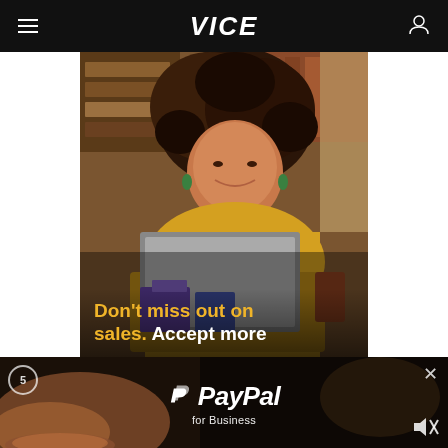VICE
[Figure (photo): Woman with curly red hair wearing yellow sweater, smiling at laptop screen, with text overlay: Don't miss out on sales. Accept more]
[Figure (photo): PayPal for Business video ad with woman in background, PayPal logo and 'for Business' text, skip counter showing 5, mute icon]